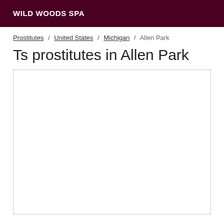WILD WOODS SPA
Prostitutes / United States / Michigan / Allen Park
Ts prostitutes in Allen Park
[Figure (other): Empty white content box with border]